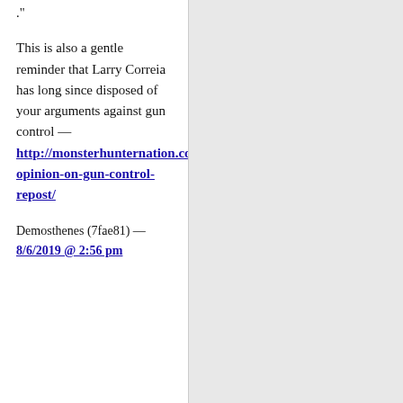."
This is also a gentle reminder that Larry Correia has long since disposed of your arguments against gun control — http://monsterhunternation.com/2015/06/23/an-opinion-on-gun-control-repost/
Demosthenes (7fae81) — 8/6/2019 @ 2:56 pm